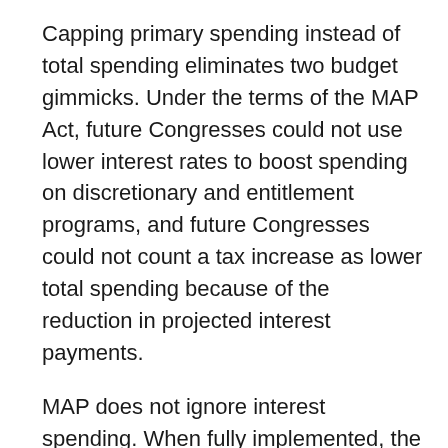Capping primary spending instead of total spending eliminates two budget gimmicks. Under the terms of the MAP Act, future Congresses could not use lower interest rates to boost spending on discretionary and entitlement programs, and future Congresses could not count a tax increase as lower total spending because of the reduction in projected interest payments.
MAP does not ignore interest spending. When fully implemented, the cap on primary spending is set low enough so that the federal budget, including interest, would be balanced in most years.
Using the credible metric of potential GDP — the size of our economy at full employment without inflation — provides a more stable path for federal spending over time. Potential GDP eliminates the business-cycle fluctuations in GDP, which could lead to federal spending blowouts in boom years and politically